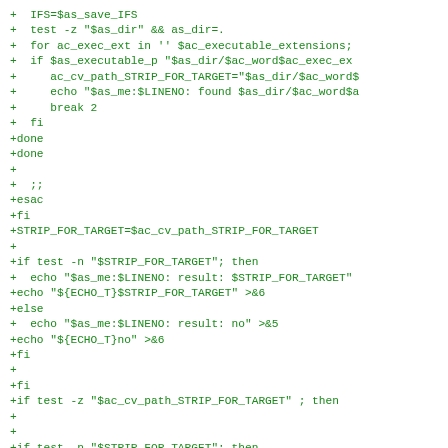+  IFS=$as_save_IFS
+  test -z "$as_dir" && as_dir=.
+  for ac_exec_ext in '' $ac_executable_extensions;
+  if $as_executable_p "$as_dir/$ac_word$ac_exec_ex
+     ac_cv_path_STRIP_FOR_TARGET="$as_dir/$ac_word$
+     echo "$as_me:$LINENO: found $as_dir/$ac_word$a
+     break 2
+  fi
+done
+done
+
+  ;;
+esac
+fi
+STRIP_FOR_TARGET=$ac_cv_path_STRIP_FOR_TARGET
+
+if test -n "$STRIP_FOR_TARGET"; then
+  echo "$as_me:$LINENO: result: $STRIP_FOR_TARGET"
+echo "${ECHO_T}$STRIP_FOR_TARGET" >&6
+else
+  echo "$as_me:$LINENO: result: no" >&5
+echo "${ECHO_T}no" >&6
+fi
+
+fi
+if test -z "$ac_cv_path_STRIP_FOR_TARGET" ; then
+
+
+if test -n "$STRIP_FOR_TARGET"; then
+  ac_cv_prog_STRIP_FOR_TARGET=$STRIP_FOR_TARGET